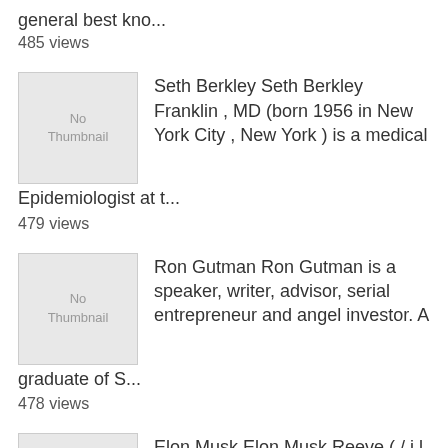general best kno...
485 views
[Figure (illustration): No Thumbnail placeholder image]
Seth Berkley Seth Berkley Franklin , MD (born 1956 in New York City , New York ) is a medical Epidemiologist at t...
479 views
[Figure (illustration): No Thumbnail placeholder image]
Ron Gutman Ron Gutman is a speaker, writer, advisor, serial entrepreneur and angel investor. A graduate of S...
478 views
[Figure (illustration): No Thumbnail placeholder image]
Elon Musk Elon Musk Reeve ( / i l ɒ æ m ʌ s k / ; born June 28, 1971) is a South African-born Canadian-